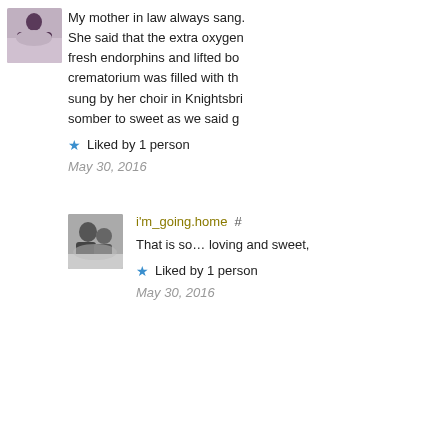[Figure (photo): Small square avatar photo of a person sitting outdoors, wearing a dark top]
My mother in law always sang. She said that the extra oxygen fresh endorphins and lifted bo crematorium was filled with th sung by her choir in Knightsbri somber to sweet as we said g
Liked by 1 person
May 30, 2016
[Figure (photo): Black and white photo of two people embracing]
i'm_going.home  #
That is so... loving and sweet,
Liked by 1 person
May 30, 2016